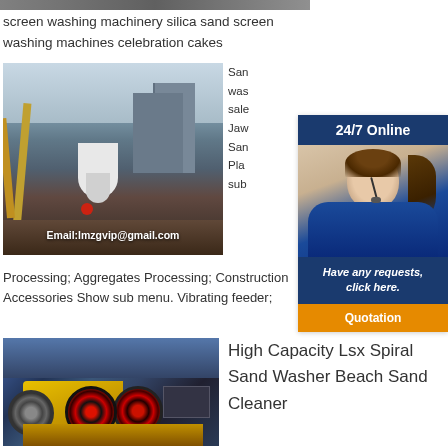[Figure (photo): Top strip of industrial machinery photo]
screen washing machinery silica sand screen washing machines celebration cakes
[Figure (photo): Industrial grinding mill and plant structures with email overlay: Email:lmzgvip@gmail.com]
Sand washing ... sale ... Jaw ... Sand ... Plant ... sub ...
[Figure (other): 24/7 Online customer support widget with photo of woman with headset, Have any requests, click here. Quotation button]
Processing; Aggregates Processing; Construction Accessories Show sub menu. Vibrating feeder;
[Figure (photo): Yellow jaw crusher machine in industrial factory setting]
High Capacity Lsx Spiral Sand Washer Beach Sand Cleaner